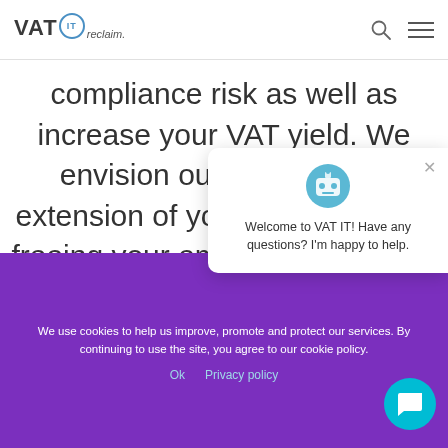[Figure (logo): VAT IT reclaim logo with circular IT badge]
compliance risk as well as increase your VAT yield. We envision ourselves as an extension of your finance team, freeing your employees to focus on critical are...
Welcome to VAT IT! Have any questions? I'm happy to help.
We use cookies to help us improve, promote and protect our services. By continuing to use the site, you agree to our cookie policy.
Ok   Privacy policy